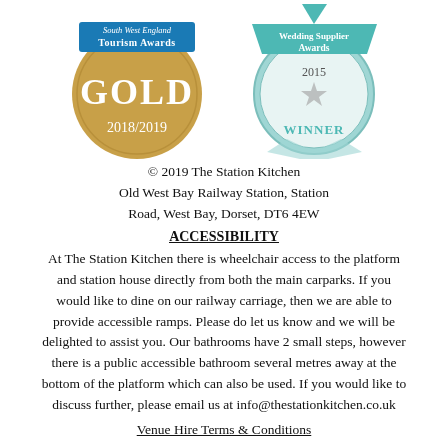[Figure (logo): Two circular award badges: left is a gold 'South West England GOLD 2018/2019' badge; right is a teal/silver 'Wedding Supplier Awards 2015 WINNER' badge.]
© 2019 The Station Kitchen
Old West Bay Railway Station, Station Road, West Bay, Dorset, DT6 4EW
ACCESSIBILITY
At The Station Kitchen there is wheelchair access to the platform and station house directly from both the main carparks. If you would like to dine on our railway carriage, then we are able to provide accessible ramps. Please do let us know and we will be delighted to assist you. Our bathrooms have 2 small steps, however there is a public accessible bathroom several metres away at the bottom of the platform which can also be used. If you would like to discuss further, please email us at info@thestationkitchen.co.uk
Venue Hire Terms & Conditions